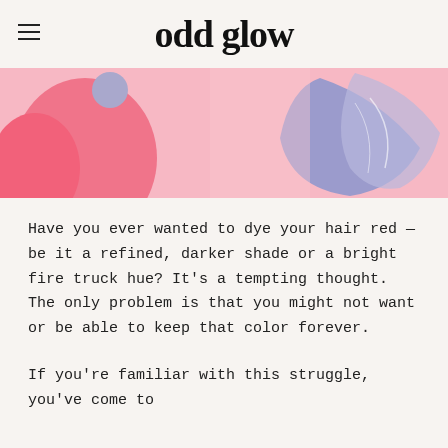odd glow
[Figure (illustration): Decorative banner illustration with pink and lavender abstract floral and leaf shapes on a light pink background]
Have you ever wanted to dye your hair red — be it a refined, darker shade or a bright fire truck hue? It's a tempting thought. The only problem is that you might not want or be able to keep that color forever.
If you're familiar with this struggle, you've come to